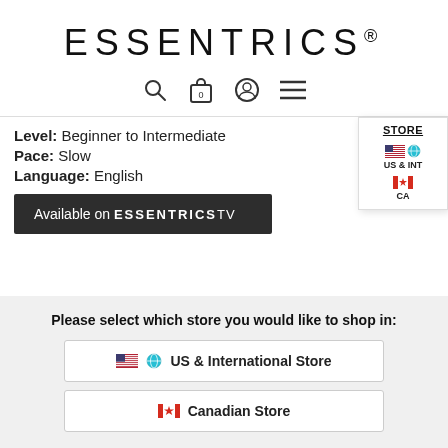ESSENTRICS®
[Figure (infographic): Navigation icons: search (magnifying glass), shopping bag with 0, user/account circle, hamburger menu]
Level:  Beginner to Intermediate
Pace:  Slow
Language:  English
[Figure (screenshot): Dark button with text: Available on ESSENTRICS TV]
[Figure (infographic): Store selector popup with STORE header, US flag + globe icon labeled US & INT, Canadian flag labeled CA]
Please select which store you would like to shop in:
🇺🇸 🌐  US & International Store
🇨🇦  Canadian Store